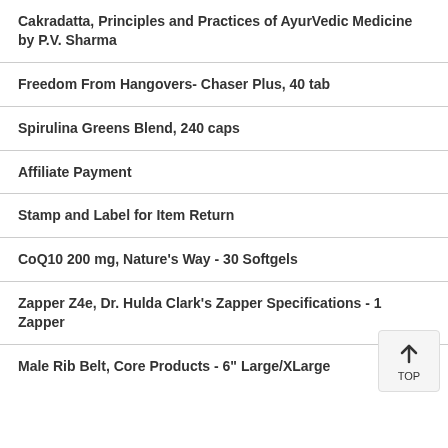Cakradatta, Principles and Practices of AyurVedic Medicine by P.V. Sharma
Freedom From Hangovers- Chaser Plus, 40 tab
Spirulina Greens Blend, 240 caps
Affiliate Payment
Stamp and Label for Item Return
CoQ10 200 mg, Nature's Way - 30 Softgels
Zapper Z4e, Dr. Hulda Clark's Zapper Specifications - 1 Zapper
Male Rib Belt, Core Products - 6" Large/XLarge